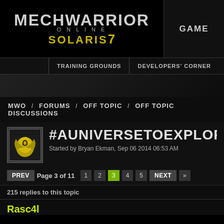[Figure (logo): MechWarrior Online Solaris 7 game logo with yellow/gold styling on black background]
GAME
TRAINING GROUNDS   DEVELOPERS' CORNER
MWO / FORUMS / OFF TOPIC / OFF TOPIC DISCUSSIONS
#AUNIVERSETOEXPLOR
Started by Bryan Ekman, Sep 06 2014 06:53 AM
PREV  Page 3 of 11  1  2  3  4  5  NEXT  »
215 replies to this topic
Rasc4l